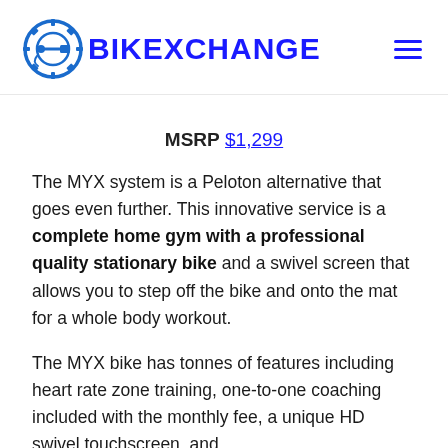BIKEXCHANGE
MSRP $1,299
The MYX system is a Peloton alternative that goes even further. This innovative service is a complete home gym with a professional quality stationary bike and a swivel screen that allows you to step off the bike and onto the mat for a whole body workout.
The MYX bike has tonnes of features including heart rate zone training, one-to-one coaching included with the monthly fee, a unique HD swivel touchscreen, and